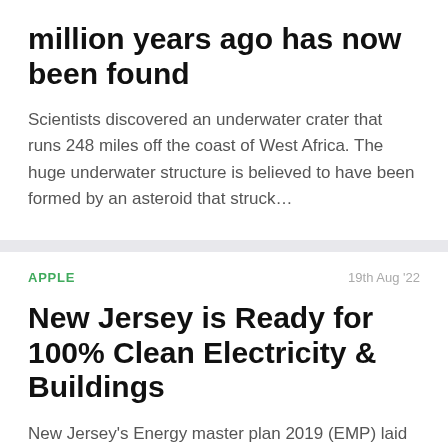million years ago has now been found
Scientists discovered an underwater crater that runs 248 miles off the coast of West Africa. The huge underwater structure is believed to have been formed by an asteroid that struck…
APPLE
19th Aug '22
New Jersey is Ready for 100% Clean Electricity & Buildings
New Jersey's Energy master plan 2019 (EMP) laid out the plan for how the state can achieve a 100% emissions-free economy by 2050. It envisions a future where a home…